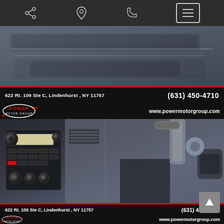[Figure (screenshot): Mobile website navigation bar with share icon, location pin icon, phone icon, and hamburger menu button on dark background]
[Figure (photo): Car interior photo showing door panel and window area, dark grey/black interior]
622 Rt. 109 Ste C, Lindenhurst , NY  11757        (631) 450-4710
[Figure (logo): Power Motor Group logo - oval shape with POWER text in red and MOTOR GROUP below]
www.powermotorgroup.com
[Figure (photo): Car interior photo showing dashboard with radio/stereo unit, center console, air vents, and passenger side door]
622 Rt. 109 Ste C, Lindenhurst , NY  11757        (631) 450-4710
www.powermotorgroup.com